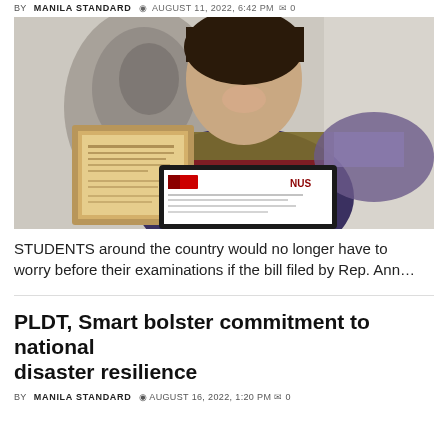BY MANILA STANDARD  AUGUST 11, 2022, 6:42 PM  0
[Figure (photo): Woman in colorful striped top holding framed certificates/awards in front of a wall with a portrait]
STUDENTS around the country would no longer have to worry before their examinations if the bill filed by Rep. Ann...
PLDT, Smart bolster commitment to national disaster resilience
BY MANILA STANDARD  AUGUST 16, 2022, 1:20 PM  0